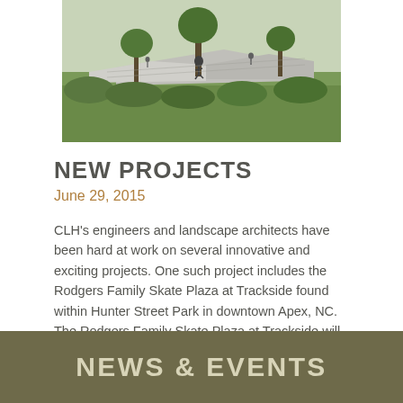[Figure (photo): Architectural rendering of Rodgers Family Skate Plaza at Trackside, showing a skate park with ramps, a person skating, trees, and green landscaping in downtown Apex, NC.]
NEW PROJECTS
June 29, 2015
CLH's engineers and landscape architects have been hard at work on several innovative and exciting projects. One such project includes the Rodgers Family Skate Plaza at Trackside found within Hunter Street Park in downtown Apex, NC. The Rodgers Family Skate Plaza at Trackside will be a 13,000 square foot, four tiered, skate plaza which mimics street [...]
NEWS & EVENTS